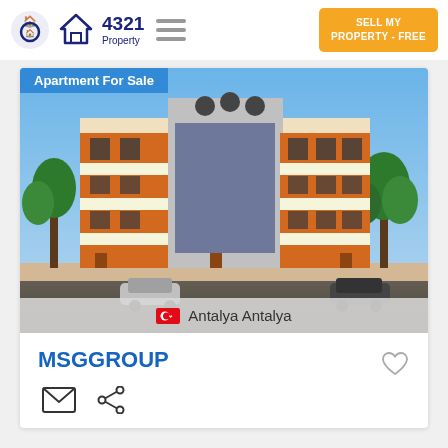4321 Property
SELL MY PROPERTY - FREE
[Figure (photo): Apartment For Sale - exterior rendering of a modern multi-storey residential building with orange and white facade, balconies, large windows, surrounded by trees and parked cars in front.]
Apartment For Sale
Antalya Antalya
MSGGROUP